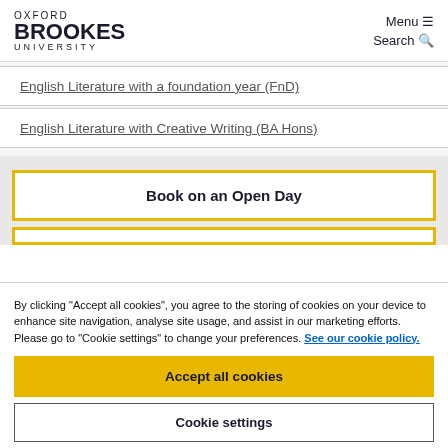OXFORD BROOKES UNIVERSITY  Menu  Search
English Literature with a foundation year (FnD)
English Literature with Creative Writing (BA Hons)
Book on an Open Day
By clicking "Accept all cookies", you agree to the storing of cookies on your device to enhance site navigation, analyse site usage, and assist in our marketing efforts. Please go to "Cookie settings" to change your preferences. See our cookie policy.
Accept all cookies
Cookie settings